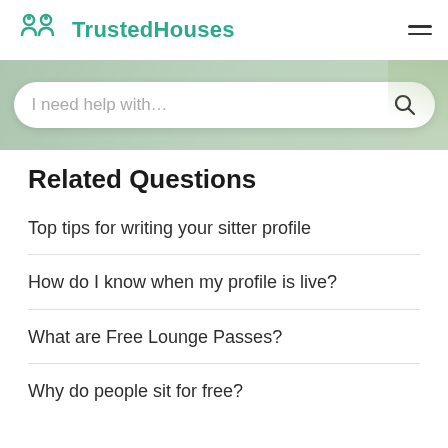TrustedHouses
[Figure (screenshot): Search bar with placeholder text 'I need help with...' and a search icon, on a green-tinted background]
Related Questions
Top tips for writing your sitter profile
How do I know when my profile is live?
What are Free Lounge Passes?
Why do people sit for free?